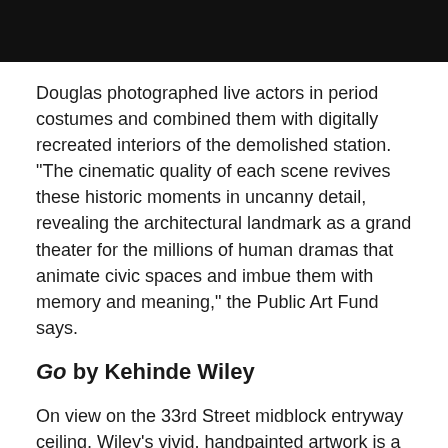[Figure (photo): Black header bar at top of page]
Douglas photographed live actors in period costumes and combined them with digitally recreated interiors of the demolished station. "The cinematic quality of each scene revives these historic moments in uncanny detail, revealing the architectural landmark as a grand theater for the millions of human dramas that animate civic spaces and imbue them with memory and meaning," the Public Art Fund says.
Go by Kehinde Wiley
On view on the 33rd Street midblock entryway ceiling, Wiley's vivid, handpainted artwork is a backlit, stained-glass triptych that's inspired by Renaissance and Baroque paintings. It was also taken from Giovanni Battist...